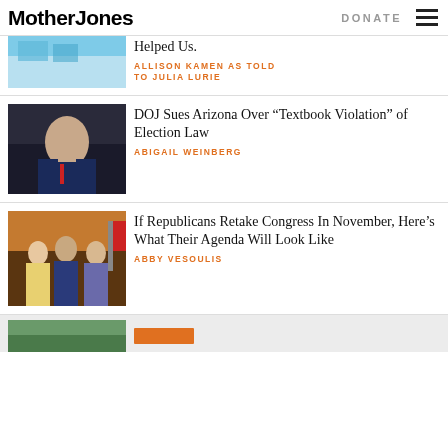Mother Jones | DONATE
Helped Us.
ALLISON KAMEN AS TOLD TO JULIA LURIE
DOJ Sues Arizona Over “Textbook Violation” of Election Law
ABIGAIL WEINBERG
If Republicans Retake Congress In November, Here’s What Their Agenda Will Look Like
ABBY VESOULIS